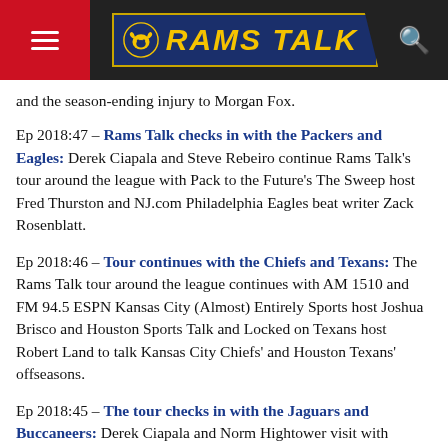[Figure (logo): Rams Talk website header with hamburger menu on left, Rams Talk logo in center on dark background, and search icon on right]
and the season-ending injury to Morgan Fox.
Ep 2018:47 – Rams Talk checks in with the Packers and Eagles: Derek Ciapala and Steve Rebeiro continue Rams Talk's tour around the league with Pack to the Future's The Sweep host Fred Thurston and NJ.com Philadelphia Eagles beat writer Zack Rosenblatt.
Ep 2018:46 – Tour continues with the Chiefs and Texans: The Rams Talk tour around the league continues with AM 1510 and FM 94.5 ESPN Kansas City (Almost) Entirely Sports host Joshua Brisco and Houston Sports Talk and Locked on Texans host Robert Land to talk Kansas City Chiefs' and Houston Texans' offseasons.
Ep 2018:45 – The tour checks in with the Jaguars and Buccaneers: Derek Ciapala and Norm Hightower visit with